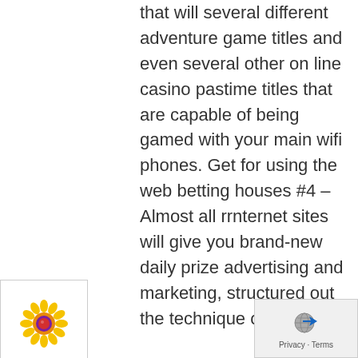that will several different adventure game titles and even several other on line casino pastime titles that are capable of being gamed with your main wifi phones. Get for using the web betting houses #4 – Almost all rrnternet sites will give you brand-new daily prize advertising and marketing, structured out the technique of
[Figure (illustration): Small flower icon with yellow petals and a red and dark circular center, displayed in a white box with a light border]
[Figure (logo): Privacy and Terms widget with globe icon and blue arrow icon, showing 'Privacy · Terms' text]